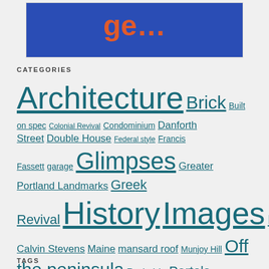[Figure (photo): Blue image with partial orange text reading 'get...' visible at the top of the page]
CATEGORIES
Architecture Brick Built on spec Colonial Revival Condominium Danforth Street Double House Federal style Francis Fassett garage Glimpses Greater Portland Landmarks Greek Revival History Images Italianate John Calvin Stevens Maine mansard roof Munjoy Hill Off the peninsula Parkside Portals Queen Anne Remuddling Spring Street Survivor Then & Now West End West End Walks
TAGS